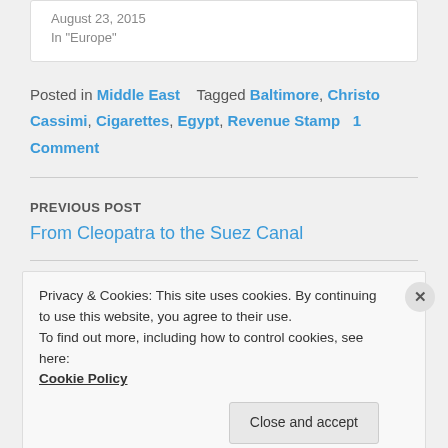August 23, 2015
In "Europe"
Posted in Middle East   Tagged Baltimore, Christo Cassimi, Cigarettes, Egypt, Revenue Stamp   1 Comment
PREVIOUS POST
From Cleopatra to the Suez Canal
Privacy & Cookies: This site uses cookies. By continuing to use this website, you agree to their use.
To find out more, including how to control cookies, see here:
Cookie Policy
Close and accept